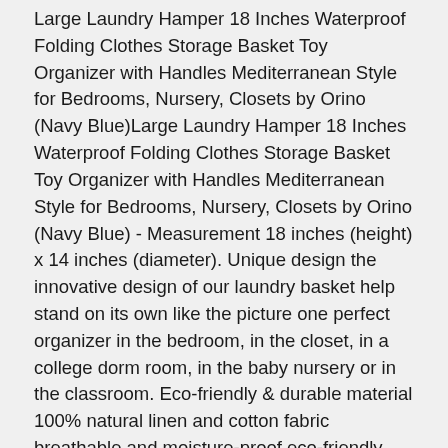Large Laundry Hamper 18 Inches Waterproof Folding Clothes Storage Basket Toy Organizer with Handles Mediterranean Style for Bedrooms, Nursery, Closets by Orino (Navy Blue)Large Laundry Hamper 18 Inches Waterproof Folding Clothes Storage Basket Toy Organizer with Handles Mediterranean Style for Bedrooms, Nursery, Closets by Orino (Navy Blue) - Measurement 18 inches (height) x 14 inches (diameter). Unique design the innovative design of our laundry basket help stand on its own like the picture one perfect organizer in the bedroom, in the closet, in a college dorm room, in the baby nursery or in the classroom. Eco-friendly & durable material 100% natural linen and cotton fabric breathable and moisture-proof,eco-friendly and reusable waterproof pe coating lining for easy to clean. Mediterranean style a nautical, beachy set of baskets for all of your basket needs the admiral linen baskets are great for extra storage around the house in the most stylish way, made out of hardback linen